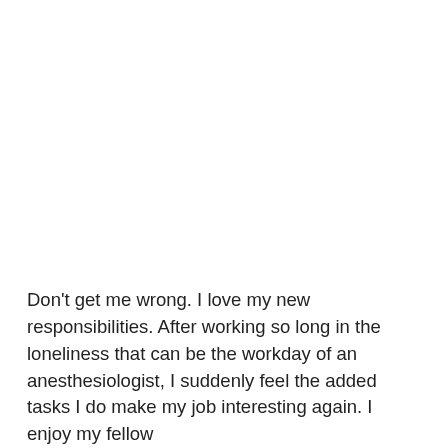Don't get me wrong. I love my new responsibilities. After working so long in the loneliness that can be the workday of an anesthesiologist, I suddenly feel the added tasks I do make my job interesting again. I enjoy my fellow